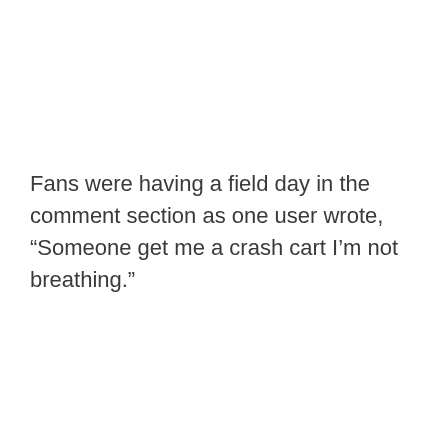Fans were having a field day in the comment section as one user wrote, “Someone get me a crash cart I’m not breathing.”